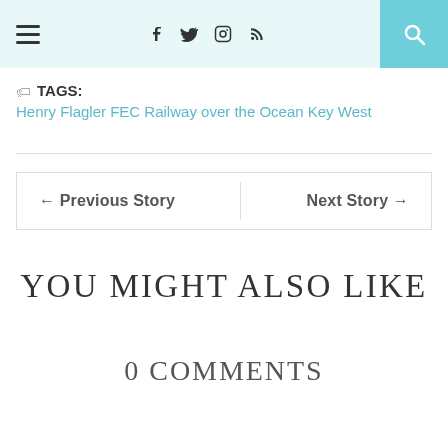≡  f  t  ☷  ⌂  🔍
TAGS: Henry Flagler FEC Railway over the Ocean Key West
← Previous Story    Next Story →
YOU MIGHT ALSO LIKE
0 COMMENTS